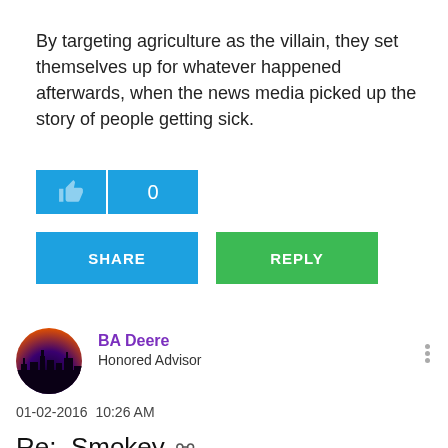By targeting agriculture as the villain, they set themselves up for whatever happened afterwards, when the news media picked up the story of people getting sick.
[Figure (screenshot): Like button (thumbs up icon) and count showing 0, both on blue background]
[Figure (screenshot): SHARE button (blue) and REPLY button (green)]
[Figure (screenshot): User avatar - circular profile photo with city silhouette at dusk]
BA Deere
Honored Advisor
01-02-2016  10:26 AM
Re: Smokey
I see where you`re coming from, however here is a "happy California cows" commercial